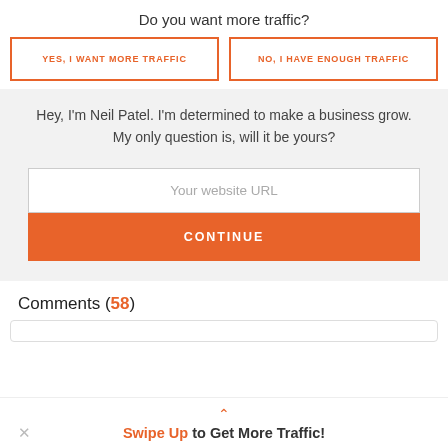Do you want more traffic?
YES, I WANT MORE TRAFFIC
NO, I HAVE ENOUGH TRAFFIC
Hey, I'm Neil Patel. I'm determined to make a business grow. My only question is, will it be yours?
Your website URL
CONTINUE
Comments (58)
Swipe Up to Get More Traffic!